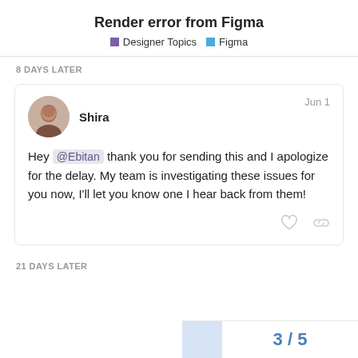Render error from Figma
Designer Topics  Figma
8 DAYS LATER
Shira  Jun 1
Hey @Ebitan thank you for sending this and I apologize for the delay. My team is investigating these issues for you now, I'll let you know one I hear back from them!
21 DAYS LATER
3 / 5